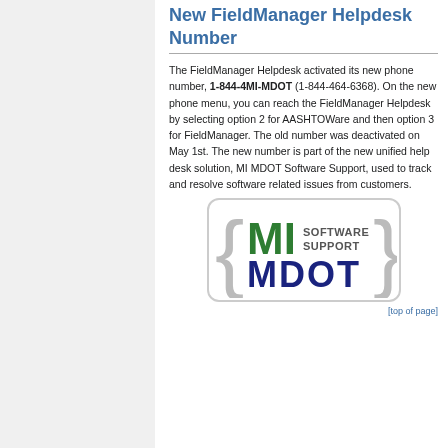New FieldManager Helpdesk Number
The FieldManager Helpdesk activated its new phone number, 1-844-4MI-MDOT (1-844-464-6368). On the new phone menu, you can reach the FieldManager Helpdesk by selecting option 2 for AASHTOWare and then option 3 for FieldManager. The old number was deactivated on May 1st. The new number is part of the new unified help desk solution, MI MDOT Software Support, used to track and resolve software related issues from customers.
[Figure (logo): MI Software Support MDOT logo with bracket design]
[top of page]